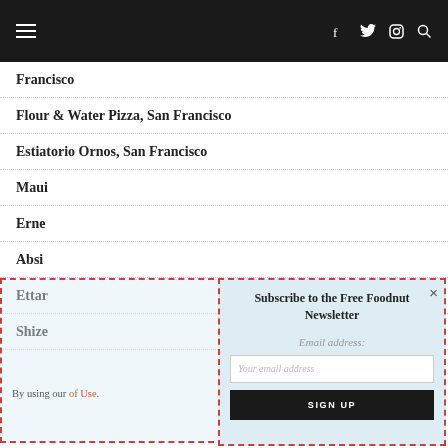Navigation bar with hamburger menu, social icons (Facebook, Twitter, Instagram), and search
Francisco
Flour & Water Pizza, San Francisco
Estiatorio Ornos, San Francisco
Maui...
Erne...
Absi...
Ettar...
Shize...
[Figure (screenshot): Newsletter subscription modal popup with dashed red border, title 'Subscribe to the Free Foodnut Newsletter', email address field, and SIGN UP button]
By using our... of Use.